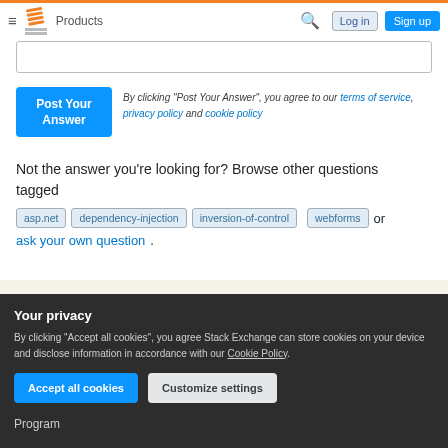≡  [Stack Overflow logo]  Products  🔍  Log in  Sign up
Post Your Answer  By clicking "Post Your Answer", you agree to our terms of service, privacy policy and cookie policy
Not the answer you're looking for? Browse other questions tagged  asp.net  dependency-injection  inversion-of-control  webforms  or ask your own question.
Your privacy
By clicking "Accept all cookies", you agree Stack Exchange can store cookies on your device and disclose information in accordance with our Cookie Policy.
Accept all cookies    Customize settings
Program